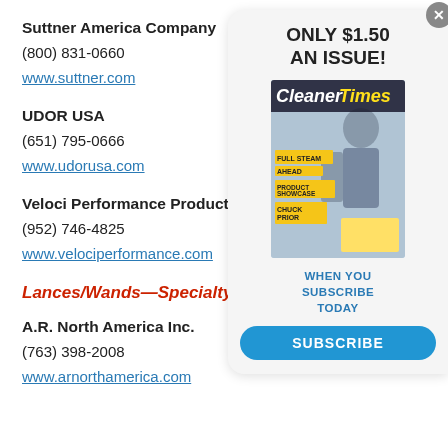Suttner America Company
(800) 831-0660
www.suttner.com
UDOR USA
(651) 795-0666
www.udorusa.com
Veloci Performance Products Inc.
(952) 746-4825
www.velociperformance.com
Lances/Wands—Specialty
A.R. North America Inc.
(763) 398-2008
www.arnorthamerica.com
[Figure (other): Advertisement overlay: Cleaner Times magazine subscription offer. Text reads 'ONLY $1.50 AN ISSUE!' with a magazine cover image showing 'Cleaner Times' with cover stories. Below image: 'WHEN YOU SUBSCRIBE TODAY' and a Subscribe button.]